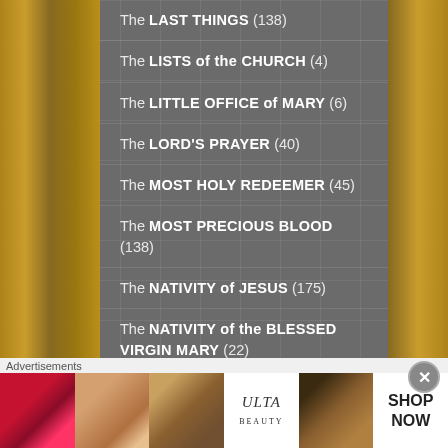The LAST THINGS (138)
The LISTS of the CHURCH (4)
The LITTLE OFFICE of MARY (6)
The LORD'S PRAYER (40)
The MOST HOLY REDEEMER (45)
The MOST PRECIOUS BLOOD (138)
The NATIVITY of JESUS (175)
The NATIVITY of the BLESSED VIRGIN MARY (22)
The O ANTIPHONS (26)
The PASSION (311)
The REDEMPTION (67)
[Figure (photo): Ulta Beauty advertisement banner with makeup images and SHOP NOW call to action]
Advertisements